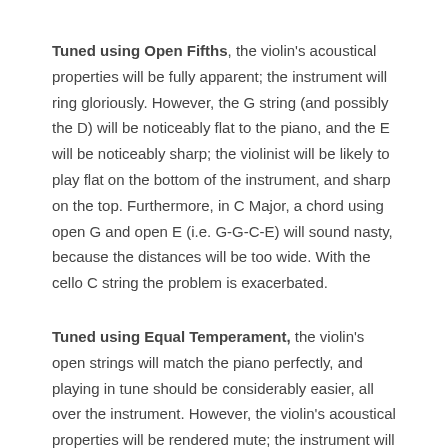Tuned using Open Fifths, the violin's acoustical properties will be fully apparent; the instrument will ring gloriously. However, the G string (and possibly the D) will be noticeably flat to the piano, and the E will be noticeably sharp; the violinist will be likely to play flat on the bottom of the instrument, and sharp on the top. Furthermore, in C Major, a chord using open G and open E (i.e. G-G-C-E) will sound nasty, because the distances will be too wide. With the cello C string the problem is exacerbated.
Tuned using Equal Temperament, the violin's open strings will match the piano perfectly, and playing in tune should be considerably easier, all over the instrument. However, the violin's acoustical properties will be rendered mute; the instrument will sound like a cigar box. It will actually feel